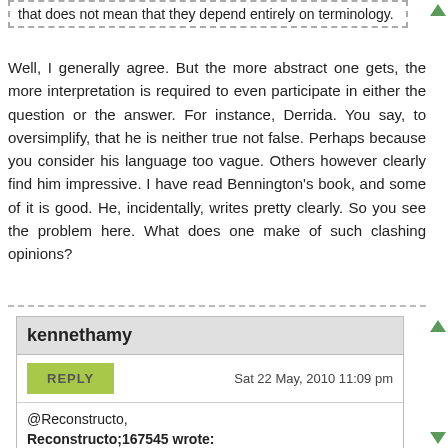that does not mean that they depend entirely on terminology.
Well, I generally agree. But the more abstract one gets, the more interpretation is required to even participate in either the question or the answer. For instance, Derrida. You say, to oversimplify, that he is neither true not false. Perhaps because you consider his language too vague. Others however clearly find him impressive. I have read Bennington's book, and some of it is good. He, incidentally, writes pretty clearly. So you see the problem here. What does one make of such clashing opinions?
kennethamy
Sat 22 May, 2010 11:09 pm
@Reconstructo,
Reconstructo;167545 wrote:
Well, I generally agree. But the more abstract one gets, the more...